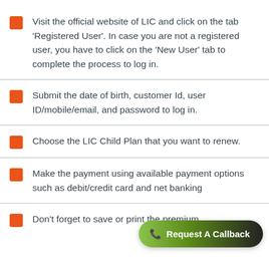Visit the official website of LIC and click on the tab 'Registered User'. In case you are not a registered user, you have to click on the 'New User' tab to complete the process to log in.
Submit the date of birth, customer Id, user ID/mobile/email, and password to log in.
Choose the LIC Child Plan that you want to renew.
Make the payment using available payment options such as debit/credit card and net banking
Don't forget to save or print the premium